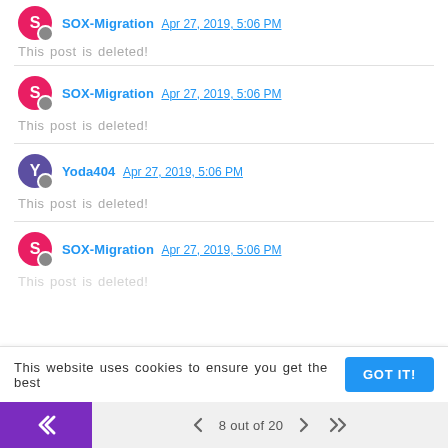SOX-Migration Apr 27, 2019, 5:06 PM
This post is deleted!
SOX-Migration Apr 27, 2019, 5:06 PM
This post is deleted!
Yoda404 Apr 27, 2019, 5:06 PM
This post is deleted!
SOX-Migration Apr 27, 2019, 5:06 PM
This post is deleted!
This website uses cookies to ensure you get the best
GOT IT!
8 out of 20